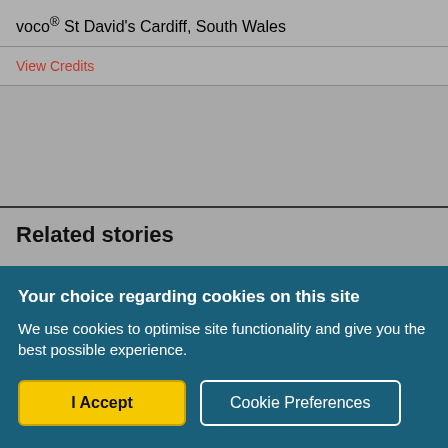voco® St David's Cardiff, South Wales
View Credits
Related stories
Your choice regarding cookies on this site
We use cookies to optimise site functionality and give you the best possible experience.
I Accept
Cookie Preferences